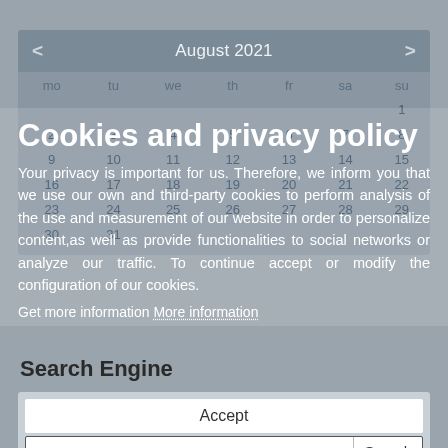[Figure (other): Calendar widget showing August 2021 with navigation arrows and days of week (mo, tu, we, th, fr, sa, su). Dates 1-31 shown in grid. Background is muted blue-grey.]
Cookies and privacy policy
Your privacy is important for us. Therefore, we inform you that we use our own and third-party cookies to perform analysis of the use and measurement of our website in order to personalize content,as well as provide functionalities to social networks or analyze our traffic. To continue accept or modify the configuration of our cookies.
Get more information More information
Search Engine
Accept
Search
Customise Cookies
> Advanced search